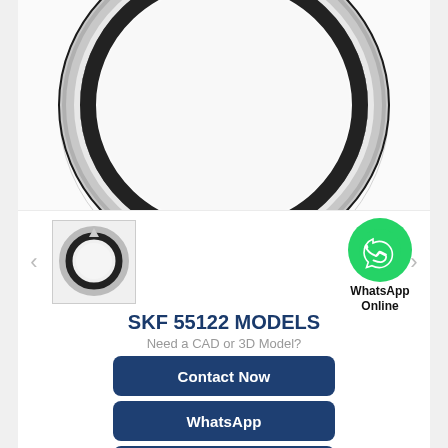[Figure (photo): Close-up photo of an SKF 55122 bearing ring/seal component, showing a metallic ring with black rubber seal, viewed from above at an angle. The ring has a shiny silver/chrome outer race and a black inner seal.]
[Figure (photo): Thumbnail image of the SKF 55122 bearing showing a small front-on view of the circular bearing component with black seal ring inside silver outer ring.]
SKF 55122 MODELS
Need a CAD or 3D Model?
WhatsApp Online
Contact Now
WhatsApp
Be Our Agent